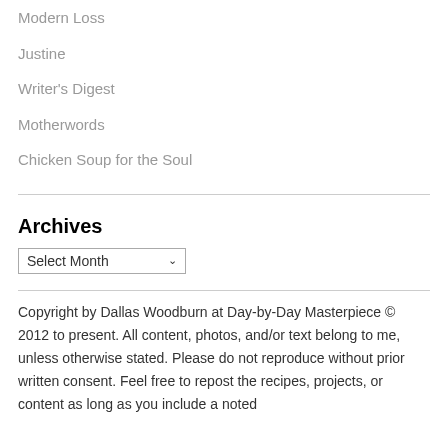Modern Loss
Justine
Writer's Digest
Motherwords
Chicken Soup for the Soul
Archives
Copyright by Dallas Woodburn at Day-by-Day Masterpiece © 2012 to present. All content, photos, and/or text belong to me, unless otherwise stated. Please do not reproduce without prior written consent. Feel free to repost the recipes, projects, or content as long as you include a noted